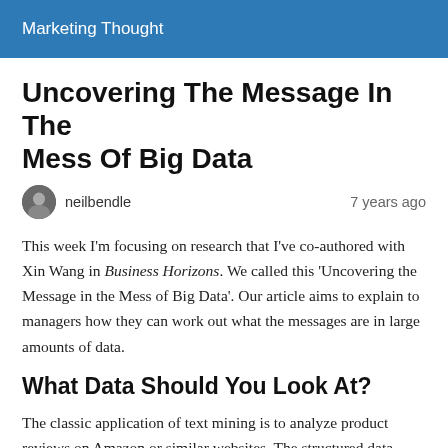Marketing Thought
Uncovering The Message In The Mess Of Big Data
neilbendle   7 years ago
This week I'm focusing on research that I've co-authored with Xin Wang in Business Horizons. We called this 'Uncovering the Message in the Mess of Big Data'. Our article aims to explain to managers how they can work out what the messages are in large amounts of data.
What Data Should You Look At?
The classic application of text mining is to analyze product reviews on Amazon or similar websites. The structured data...